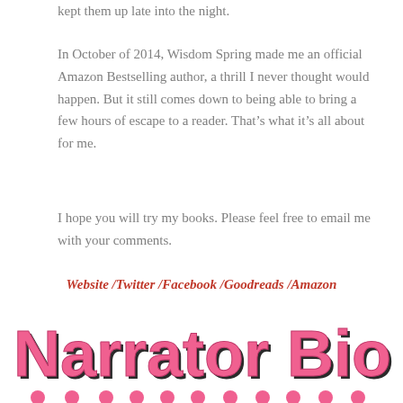kept them up late into the night.
In October of 2014, Wisdom Spring made me an official Amazon Bestselling author, a thrill I never thought would happen. But it still comes down to being able to bring a few hours of escape to a reader. That’s what it’s all about for me.
I hope you will try my books. Please feel free to email me with your comments.
Website /Twitter /Facebook /Goodreads /Amazon
[Figure (illustration): Narrator Bio text in large pink bubbly font with dark outline, followed by a row of pink circles/dots decorating the bottom]